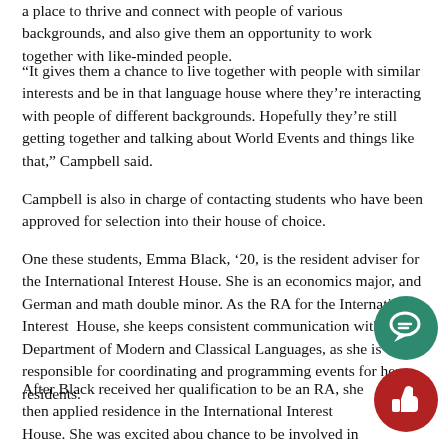a place to thrive and connect with people of various backgrounds, and also give them an opportunity to work together with like-minded people.
“It gives them a chance to live together with people with similar interests and be in that language house where they’re interacting with people of different backgrounds. Hopefully they’re still getting together and talking about World Events and things like that,” Campbell said.
Campbell is also in charge of contacting students who have been approved for selection into their house of choice.
One these students, Emma Black, ’20, is the resident adviser for the International Interest House. She is an economics major, and German and math double minor. As the RA for the International Interest House, she keeps consistent communication with the Department of Modern and Classical Languages, as she is responsible for coordinating and programming events for her residents.
After Black received her qualification to be an RA, she then applied residence in the International Interest House. She was excited about chance to be involved in a globally aware community and learn ne intercultural perspectives.
[Figure (illustration): Teal circle icon with speech bubble / comment symbol]